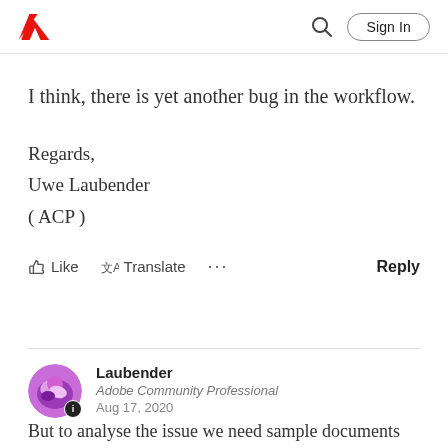Adobe [logo] | [search icon] Sign In
I think, there is yet another bug in the workflow.
Regards,
Uwe Laubender
( ACP )
Like  Translate  ...  Reply
Laubender
Adobe Community Professional
Aug 17, 2020
But to analyse the issue we need sample documents